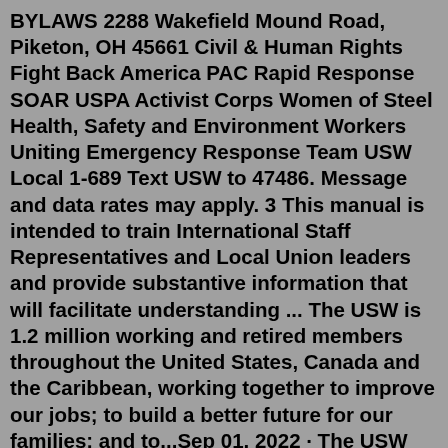BYLAWS 2288 Wakefield Mound Road, Piketon, OH 45661 Civil & Human Rights Fight Back America PAC Rapid Response SOAR USPA Activist Corps Women of Steel Health, Safety and Environment Workers Uniting Emergency Response Team USW Local 1-689 Text USW to 47486. Message and data rates may apply. 3 This manual is intended to train International Staff Representatives and Local Union leaders and provide substantive information that will facilitate understanding ... The USW is 1.2 million working and retired members throughout the United States, Canada and the Caribbean, working together to improve our jobs; to build a better future for our families; and to...Sep 01, 2022 · The USW recognizes that the five contractors represented by the California Refinery Contractors Association undermine the standards of the USW and the Building Trades in the industry. The USW is committed to resolving this issue once and for all including, if necessary, the expulsion of the USW Local Unions that represent the